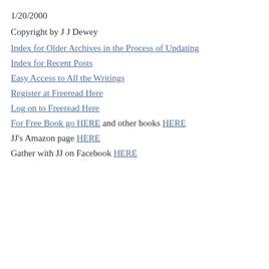1/20/2000
Copyright by J J Dewey
Index for Older Archives in the Process of Updating
Index for Recent Posts
Easy Access to All the Writings
Register at Freeread Here
Log on to Freeread Here
For Free Book go HERE and other books HERE
JJ's Amazon page HERE
Gather with JJ on Facebook HERE